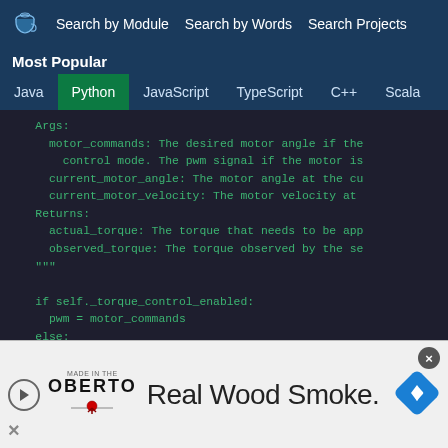Search by Module   Search by Words   Search Projects
Most Popular
Java  Python  JavaScript  TypeScript  C++  Scala
Args:
      motor_commands: The desired motor angle if the
        control mode. The pwm signal if the motor is
      current_motor_angle: The motor angle at the cu
      current_motor_velocity: The motor velocity at
    Returns:
      actual_torque: The torque that needs to be app
      observed_torque: The torque observed by the se
    """

    if self._torque_control_enabled:
      pwm = motor_commands
    else:
      pwm = (-self._kp * (current_motor_angle - moto
              - self._kd * current_motor_velocity)
[Figure (screenshot): Advertisement banner for Oberto 'Real Wood Smoke.' with play button, close X button, and navigation arrow icon]